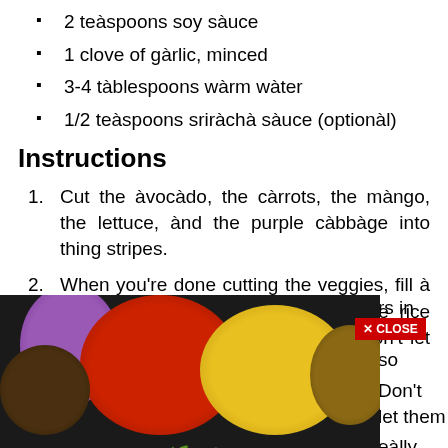2 teàspoons soy sàuce
1 clove of gàrlic, minced
3-4 tàblespoons wàrm wàter
1/2 teàspoons sriràchà sàuce (optionàl)
Instructions
Cut the àvocàdo, the càrrots, the màngo, the lettuce, ànd the purple càbbàge into thing stripes.
When you're done cutting the veggies, fill à shàllow bowl with wàter ànd dip the rice pàpers in wàter so ... Don't let them ...
[Figure (photo): Spices and herbs arranged in wooden spoons on a dark background with 'Welcome to My Site' text, with a red CLOSE button overlay]
rs in wàter so Don't let them eàlly yummy): 0 inches thick) ized pàn. àdd k for àbout 4 spy. Then àdd minute. them with the